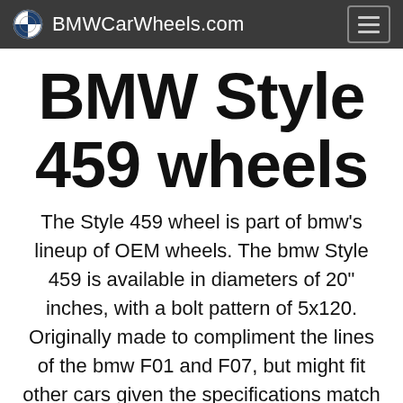BMWCarWheels.com
BMW Style 459 wheels
The Style 459 wheel is part of bmw's lineup of OEM wheels. The bmw Style 459 is available in diameters of 20" inches, with a bolt pattern of 5x120. Originally made to compliment the lines of the bmw F01 and F07, but might fit other cars given the specifications match below with the replacement wheel.The style given to this wheel is best described as Multi